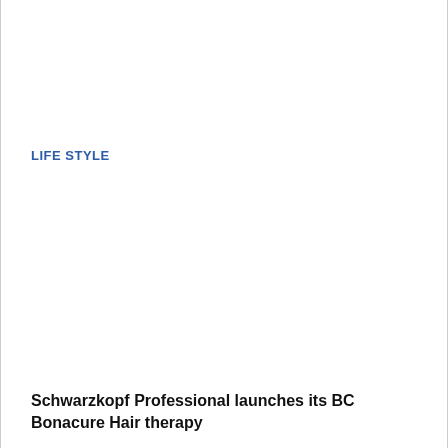LIFE STYLE
Schwarzkopf Professional launches its BC Bonacure Hair therapy